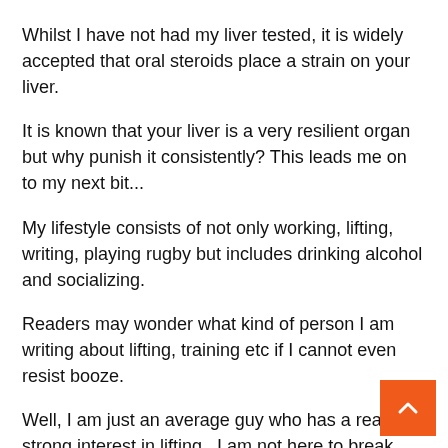Whilst I have not had my liver tested, it is widely accepted that oral steroids place a strain on your liver.
It is known that your liver is a very resilient organ but why punish it consistently? This leads me on to my next bit...
My lifestyle consists of not only working, lifting, writing, playing rugby but includes drinking alcohol and socializing.
Readers may wonder what kind of person I am writing about lifting, training etc if I cannot even resist booze.
Well, I am just an average guy who has a really strong interest in lifting.  I am not here to break records or cut down to be a competitive bodybuilder.